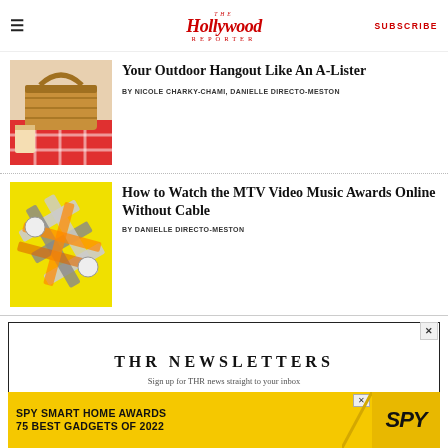The Hollywood Reporter | SUBSCRIBE
Your Outdoor Hangout Like An A-Lister
BY NICOLE CHARKY-CHAMI, DANIELLE DIRECTO-MESTON
[Figure (photo): Picnic basket with red checkered cloth and food items]
How to Watch the MTV Video Music Awards Online Without Cable
BY DANIELLE DIRECTO-MESTON
[Figure (photo): MTV VMA ribbon bows on bright yellow background]
THR NEWSLETTERS
Sign up for THR news straight to your inbox
[Figure (other): SPY Smart Home Awards 75 Best Gadgets of 2022 advertisement banner in yellow]